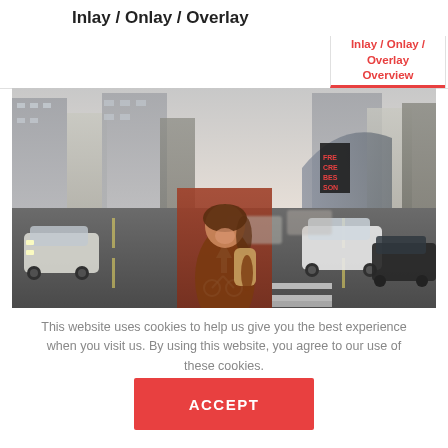Inlay / Onlay / Overlay
Inlay / Onlay / Overlay Overview
Inlay / Onlay / Overlay Clinics
[Figure (photo): Woman with backpack smiling on a busy city street with traffic and tall buildings]
This website uses cookies to help us give you the best experience when you visit us. By using this website, you agree to our use of these cookies.
ACCEPT